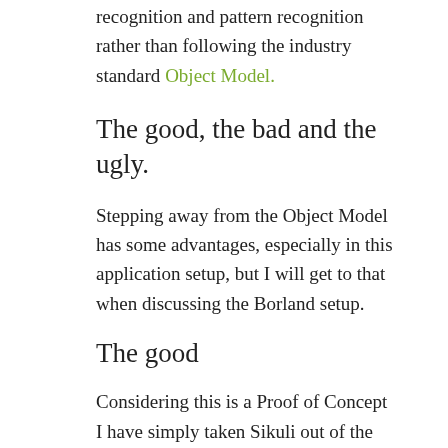recognition and pattern recognition rather than following the industry standard Object Model.
The good, the bad and the ugly.
Stepping away from the Object Model has some advantages, especially in this application setup, but I will get to that when discussing the Borland setup.
The good
Considering this is a Proof of Concept I have simply taken Sikuli out of the box, using Sikuli-IDE. The IDE works nice, simple and intuitive. It was very easy to start the RDP application and login without using any screenshots. The basic use of Sikuli is very simple and intuitive. Scripting in it is simple and logica, at least if you have a basic understanding of other scripting